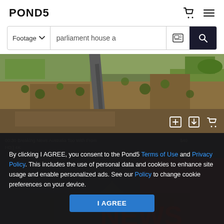POND5
Footage   parliament house a
[Figure (photo): Aerial drone view of Parliament House area in Canberra, Australia, showing roads, trees, and grass from above]
[Figure (screenshot): Dark background showing partial text about Breaking News Australia with cookie consent overlay]
By clicking I AGREE, you consent to the Pond5 Terms of Use and Privacy Policy. This includes the use of personal data and cookies to enhance site usage and enable personalized ads. See our Policy to change cookie preferences on your device.
I AGREE